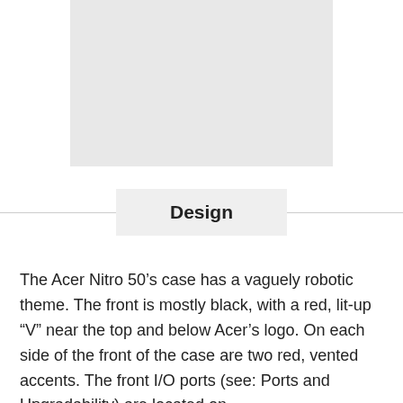[Figure (photo): Gray placeholder rectangle representing an image of the Acer Nitro 50 desktop computer]
Design
The Acer Nitro 50’s case has a vaguely robotic theme. The front is mostly black, with a red, lit-up “V” near the top and below Acer’s logo. On each side of the front of the case are two red, vented accents. The front I/O ports (see: Ports and Upgradability) are located on